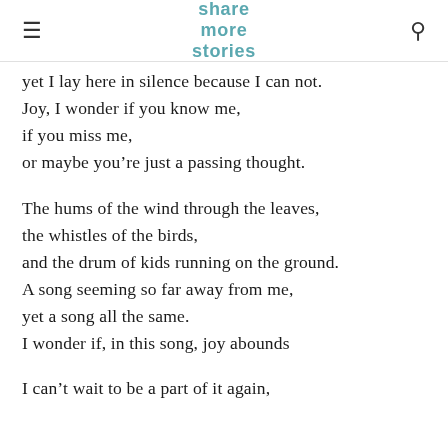share more stories
yet I lay here in silence because I can not.
Joy, I wonder if you know me,
if you miss me,
or maybe you’re just a passing thought.

The hums of the wind through the leaves,
the whistles of the birds,
and the drum of kids running on the ground.
A song seeming so far away from me,
yet a song all the same.
I wonder if, in this song, joy abounds

I can’t wait to be a part of it again,